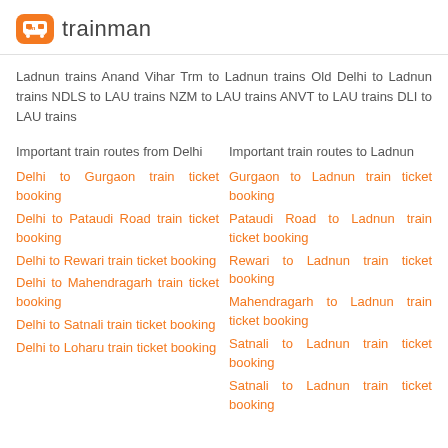tm trainman
Ladnun trains Anand Vihar Trm to Ladnun trains Old Delhi to Ladnun trains NDLS to LAU trains NZM to LAU trains ANVT to LAU trains DLI to LAU trains
Important train routes from Delhi
Important train routes to Ladnun
Delhi to Gurgaon train ticket booking
Gurgaon to Ladnun train ticket booking
Delhi to Pataudi Road train ticket booking
Pataudi Road to Ladnun train ticket booking
Delhi to Rewari train ticket booking
Rewari to Ladnun train ticket booking
Delhi to Mahendragarh train ticket booking
Mahendragarh to Ladnun train ticket booking
Delhi to Satnali train ticket booking
Satnali to Ladnun train ticket booking
Delhi to Loharu train ticket booking
Satnali to Ladnun train ticket booking